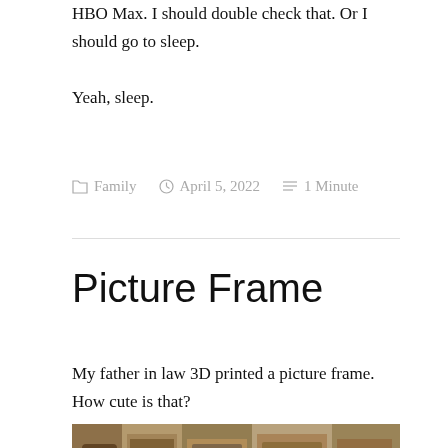HBO Max. I should double check that. Or I should go to sleep.
Yeah, sleep.
Family   April 5, 2022   1 Minute
Picture Frame
My father in law 3D printed a picture frame. How cute is that?
[Figure (photo): A 3D printed picture frame with a street scene photo visible inside, showing storefronts and what appears to be a dark circular object (possibly part of the frame) in the foreground.]